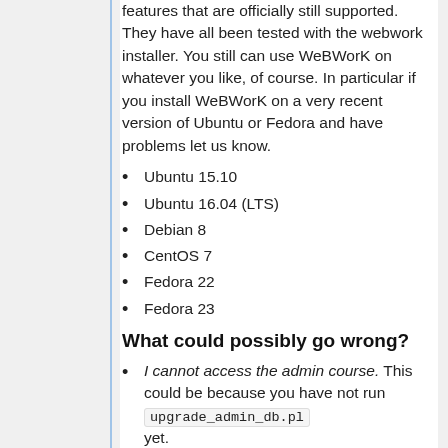features that are officially still supported. They have all been tested with the webwork installer. You still can use WeBWorK on whatever you like, of course. In particular if you install WeBWorK on a very recent version of Ubuntu or Fedora and have problems let us know.
Ubuntu 15.10
Ubuntu 16.04 (LTS)
Debian 8
CentOS 7
Fedora 22
Fedora 23
What could possibly go wrong?
I cannot access the admin course. This could be because you have not run upgrade_admin_db.pl yet.